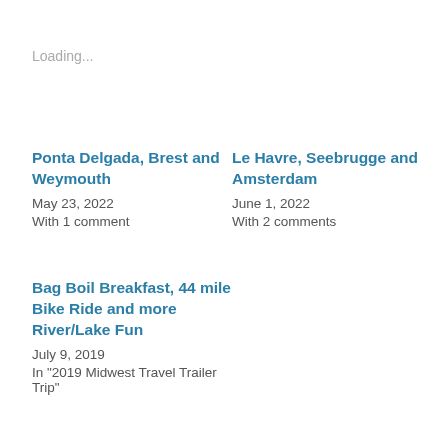Loading...
Ponta Delgada, Brest and Weymouth
May 23, 2022
With 1 comment
Le Havre, Seebrugge and Amsterdam
June 1, 2022
With 2 comments
Bag Boil Breakfast, 44 mile Bike Ride and more River/Lake Fun
July 9, 2019
In "2019 Midwest Travel Trailer Trip"